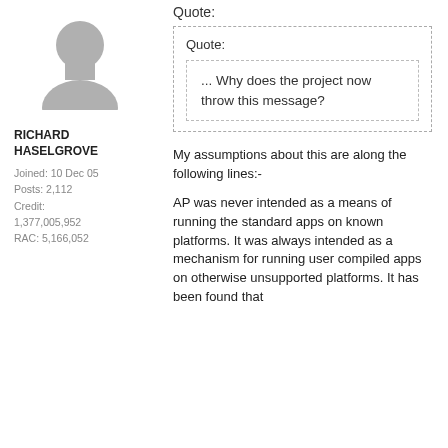[Figure (illustration): Silhouette avatar icon of a person, gray color]
RICHARD HASELGROVE
Joined: 10 Dec 05
Posts: 2,112
Credit: 1,377,005,952
RAC: 5,166,052
Quote:
Quote:
... Why does the project now throw this message?
My assumptions about this are along the following lines:-
AP was never intended as a means of running the standard apps on known platforms. It was always intended as a mechanism for running user compiled apps on otherwise unsupported platforms. It has been found that